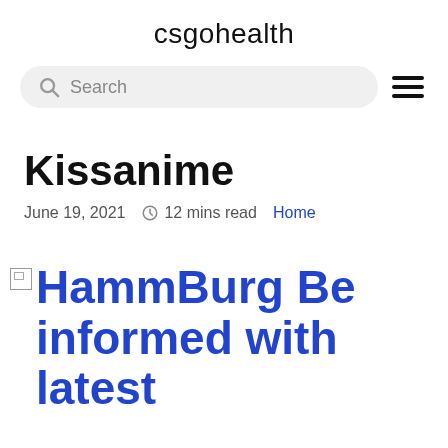csgohealth
Search
Kissanime
June 19, 2021  12 mins read  Home
HammBurg Be informed with latest